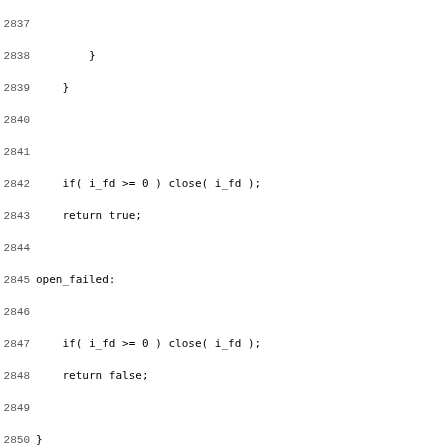Code listing lines 2837-2868, showing C source code for audio device probing functions including open_failed label, ProbeAudioDevAlsa function declaration, and variable declarations.